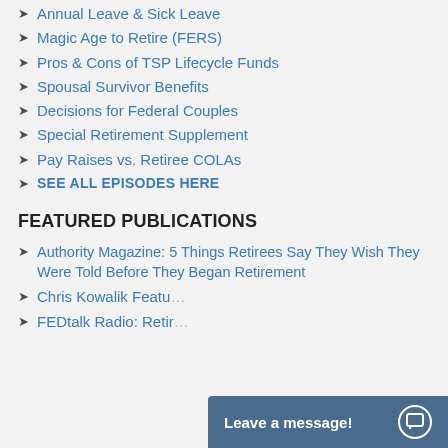Annual Leave & Sick Leave
Magic Age to Retire (FERS)
Pros & Cons of TSP Lifecycle Funds
Spousal Survivor Benefits
Decisions for Federal Couples
Special Retirement Supplement
Pay Raises vs. Retiree COLAs
SEE ALL EPISODES HERE
FEATURED PUBLICATIONS
Authority Magazine: 5 Things Retirees Say They Wish They Were Told Before They Began Retirement
Chris Kowalik Featu…
FEDtalk Radio: Retir…